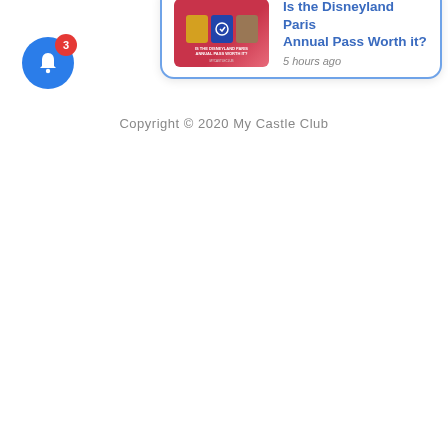[Figure (illustration): Three social media icons: Instagram, YouTube, and email/envelope icons centered at top of page]
Copyright © 2020 My Castle Club
[Figure (screenshot): Notification popup card showing 'Is the Disneyland Paris Annual Pass Worth it?' posted 5 hours ago, with a red thumbnail image and a close X button. A blue bell notification button with badge count 3 appears in lower left.]